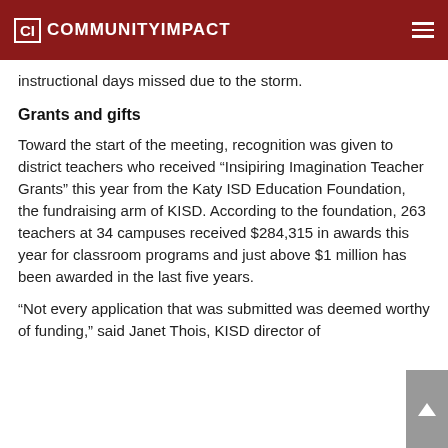CI COMMUNITYIMPACT
instructional days missed due to the storm.
Grants and gifts
Toward the start of the meeting, recognition was given to district teachers who received “Insipiring Imagination Teacher Grants” this year from the Katy ISD Education Foundation, the fundraising arm of KISD. According to the foundation, 263 teachers at 34 campuses received $284,315 in awards this year for classroom programs and just above $1 million has been awarded in the last five years.
“Not every application that was submitted was deemed worthy of funding,” said Janet Thois, KISD director of